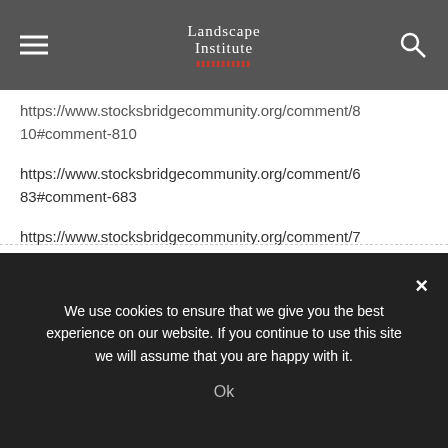Landscape Institute
https://www.stocksbridgecommunity.org/comment/810#comment-810
https://www.stocksbridgecommunity.org/comment/683#comment-683
https://www.stocksbridgecommunity.org/comment/779#comment-779
https://www.stocksbridgecommunity.org/comment/698#comment-698
Reply
We use cookies to ensure that we give you the best experience on our website. If you continue to use this site we will assume that you are happy with it.
Ok